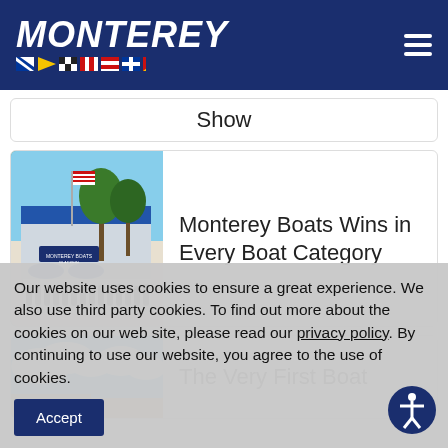MONTEREY
Show
Monterey Boats Wins in Every Boat Category
[Figure (photo): Group photo of Monterey Boats employees in front of the Monterey Boats / Blackfin building with palm trees and an American flag]
The Very First Boat
[Figure (photo): Partially visible photo showing blue sky and clouds]
Our website uses cookies to ensure a great experience. We also use third party cookies. To find out more about the cookies on our web site, please read our privacy policy. By continuing to use our website, you agree to the use of cookies.
Accept